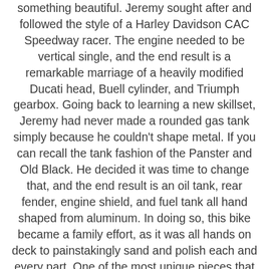something beautiful. Jeremy sought after and followed the style of a Harley Davidson CAC Speedway racer. The engine needed to be vertical single, and the end result is a remarkable marriage of a heavily modified Ducati head, Buell cylinder, and Triumph gearbox. Going back to learning a new skillset, Jeremy had never made a rounded gas tank simply because he couldn't shape metal. If you can recall the tank fashion of the Panster and Old Black. He decided it was time to change that, and the end result is an oil tank, rear fender, engine shield, and fuel tank all hand shaped from aluminum. In doing so, this bike became a family effort, as it was all hands on deck to painstakingly sand and polish each and every part. One of the most unique pieces that has caused brows to be raised is the front suspension. The Hydro-Springer is unique to LC Fab and combines a springer with an upside down Showa fork. The spring was removed, so the Showa acts as the dampener. Seven is a historic venture in the